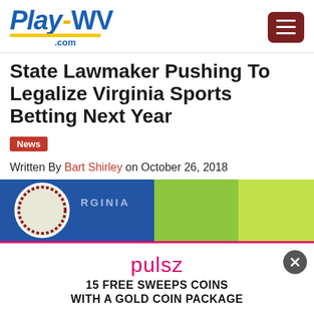[Figure (logo): PlayWV.com logo with blue italic text and yellow underline/dash, hamburger menu button in dark red]
State Lawmaker Pushing To Legalize Virginia Sports Betting Next Year
News
Written By Bart Shirley on October 26, 2018
[Figure (photo): Virginia state flag/seal image with blue background and green/lime background on the right]
[Figure (infographic): Pulsz advertisement overlay: 15 FREE SWEEPS COINS WITH A GOLD COIN PACKAGE, email input field, CLAIM OFFER button]